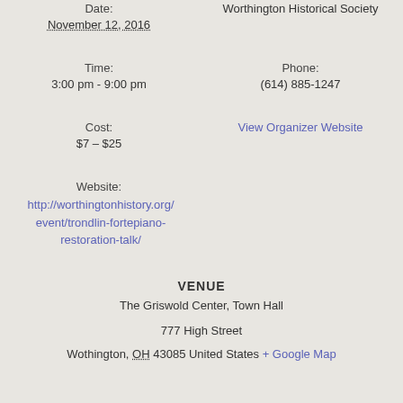Date:
November 12, 2016
Worthington Historical Society
Time:
3:00 pm - 9:00 pm
Phone:
(614) 885-1247
Cost:
$7 – $25
View Organizer Website
Website:
http://worthingtonhistory.org/event/trondlin-fortepiano-restoration-talk/
VENUE
The Griswold Center, Town Hall
777 High Street
Wothington, OH 43085 United States + Google Map